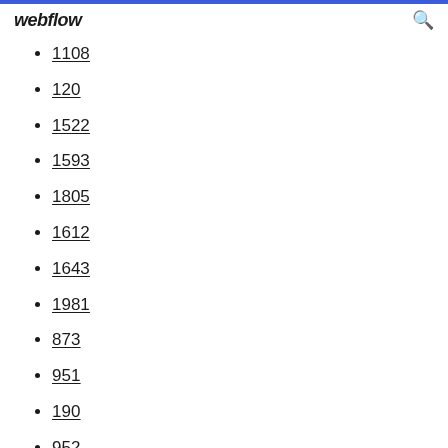webflow
1108
120
1522
1593
1805
1612
1643
1981
873
951
190
952
306